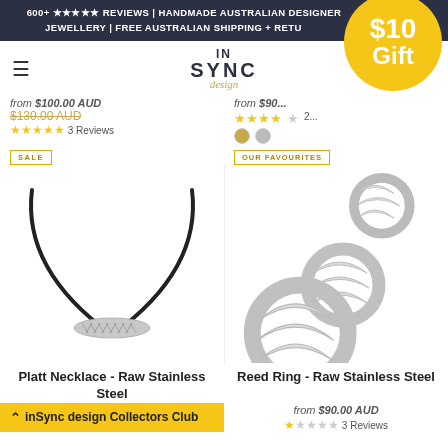600+ ★★★★★ REVIEWS | HANDMADE AUSTRALIAN DESIGNER JEWELLERY | FREE AUSTRALIAN SHIPPING + RETURNS
[Figure (logo): inSync design logo with hamburger menu icon and $10 Gift yellow circle badge]
from $100.00 AUD
$130.00 AUD (strikethrough)
★★★★★ 3 Reviews
from $90... (partially obscured)
[Figure (photo): Platt Necklace - Raw Stainless Steel on black cord, SALE tag]
[Figure (photo): Reed Ring - Raw Stainless Steel shown in three sizes, OUR FAVOURITES tag]
Platt Necklace - Raw Stainless Steel
Reed Ring - Raw Stainless Steel
from $90.00 AUD
★☆☆☆☆ 3 Reviews
⌃ inSync design Collectors Club